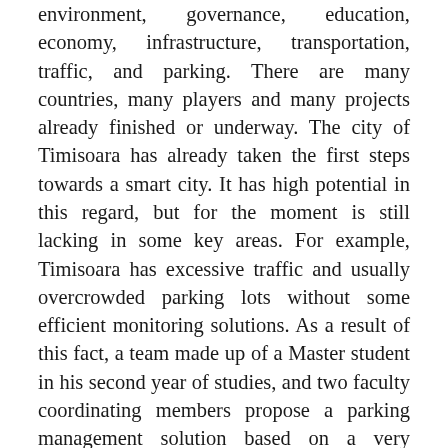environment, governance, education, economy, infrastructure, transportation, traffic, and parking. There are many countries, many players and many projects already finished or underway. The city of Timisoara has already taken the first steps towards a smart city. It has high potential in this regard, but for the moment is still lacking in some key areas. For example, Timisoara has excessive traffic and usually overcrowded parking lots without some efficient monitoring solutions. As a result of this fact, a team made up of a Master student in his second year of studies, and two faculty coordinating members propose a parking management solution based on a very restrictive budget. The low-cost prototype we developed for testing purposes contains a mockup parking platform with 8 parking spaces, one Raspberry Pi Zero W micro-computer, and a camera module attached to the Raspberry Pi. The idea is to broadcast live feed towards a computing platform tasked with identifying the available parking spots and occupancy on the